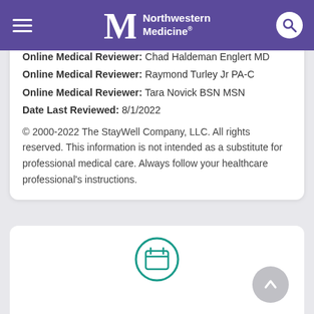Northwestern Medicine
Online Medical Reviewer: Chad Haldeman Englert MD
Online Medical Reviewer: Raymond Turley Jr PA-C
Online Medical Reviewer: Tara Novick BSN MSN
Date Last Reviewed: 8/1/2022
© 2000-2022 The StayWell Company, LLC. All rights reserved. This information is not intended as a substitute for professional medical care. Always follow your healthcare professional's instructions.
[Figure (illustration): Teal calendar icon inside a teal circle, and a gray back-to-top arrow button]